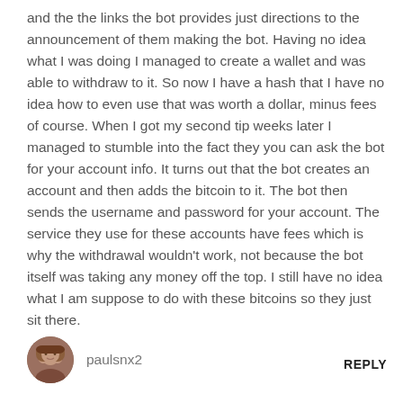and the the links the bot provides just directions to the announcement of them making the bot. Having no idea what I was doing I managed to create a wallet and was able to withdraw to it. So now I have a hash that I have no idea how to even use that was worth a dollar, minus fees of course. When I got my second tip weeks later I managed to stumble into the fact they you can ask the bot for your account info. It turns out that the bot creates an account and then adds the bitcoin to it. The bot then sends the username and password for your account. The service they use for these accounts have fees which is why the withdrawal wouldn't work, not because the bot itself was taking any money off the top. I still have no idea what I am suppose to do with these bitcoins so they just sit there.
[Figure (photo): User avatar photo showing a person, circular crop]
paulsnx2
REPLY